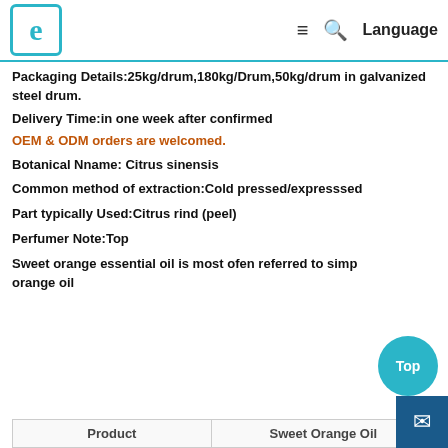Logo | ≡ 🔍 Language
Packaging Details:25kg/drum,180kg/Drum,50kg/drum in galvanized steel drum.
Delivery Time:in one week after confirmed
OEM & ODM orders are welcomed.
Botanical Nname: Citrus sinensis
Common method of extraction:Cold pressed/expresssed
Part typically Used:Citrus rind (peel)
Perfumer Note:Top
Sweet orange essential oil is most ofen referred to simply as orange oil
| Product | Sweet Orange Oil |
| --- | --- |